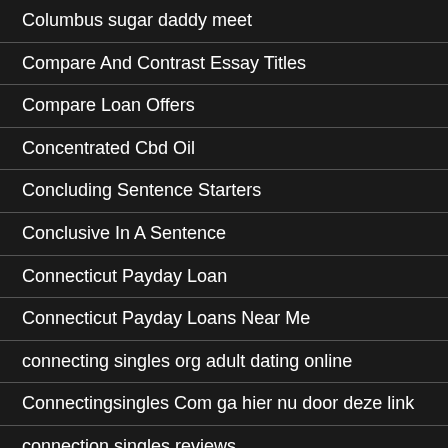Columbus sugar daddy meet
Compare And Contrast Essay Titles
Compare Loan Offers
Concentrated Cbd Oil
Concluding Sentence Starters
Conclusive In A Sentence
Connecticut Payday Loan
Connecticut Payday Loans Near Me
connecting singles org adult dating online
Connectingsingles Com ga hier nu door deze link
connection singles reviews
Contact Wix
cool cat casino bonus codes no deposit